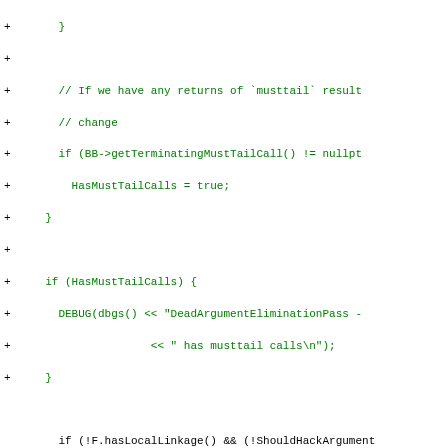[Figure (screenshot): Code diff showing changes to DeadArgumentEliminationPass in C++, with added lines in green and context/hunk headers in blue monospace font]